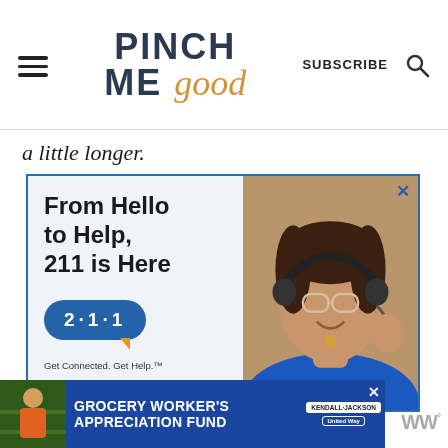PINCH ME good | SUBSCRIBE
a little longer.
[Figure (photo): Advertisement: 211 helpline ad. Left side shows text 'From Hello to Help, 211 is Here' with a blue speech bubble showing '2·1·1' and tagline 'Get Connected. Get Help.' Right side shows a woman wearing headphones and glasses, smiling, in a call-center setting.]
[Figure (photo): Bottom banner advertisement for 'Grocery Worker's Appreciation Fund' featuring Kendall Jackson and United Way logos on a blue background, with a photo of a grocery worker on the left.]